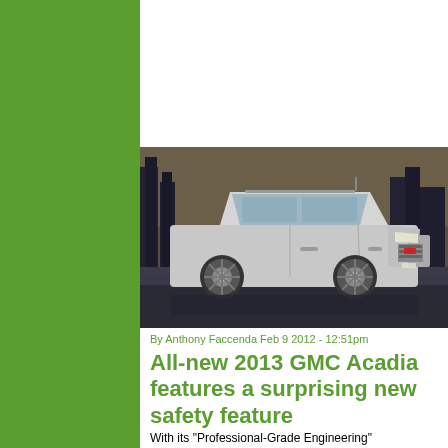[Figure (photo): A silver GMC Acadia SUV parked in a dramatic urban setting at night, city skyline visible in background]
By Anthony Faccenda Feb 9 2012 - 12:51pm
All-new 2013 GMC Acadia features a surprising new safety feature
With its "Professional-Grade Engineering"